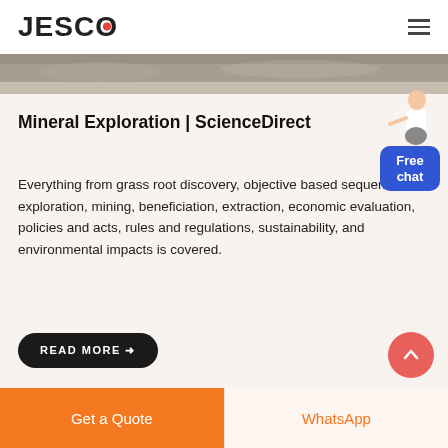JESCO
[Figure (photo): Aerial or close-up photo strip of rocky/mineral terrain, shown as a narrow horizontal band]
Mineral Exploration | ScienceDirect
Everything from grass root discovery, objective based sequential exploration, mining, beneficiation, extraction, economic evaluation, policies and acts, rules and regulations, sustainability, and environmental impacts is covered.
READ MORE →
[Figure (illustration): Small illustration of a person/character next to a blue rounded rectangle chat widget labeled 'Free chat']
Get a Quote | WhatsApp